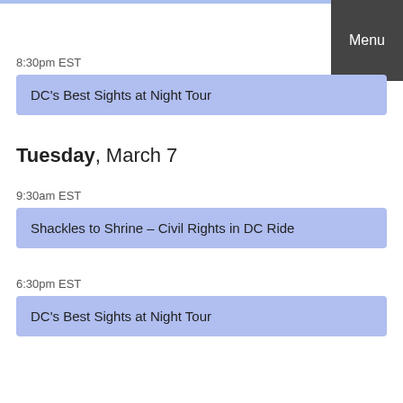Menu
8:30pm EST
DC's Best Sights at Night Tour
Tuesday, March 7
9:30am EST
Shackles to Shrine – Civil Rights in DC Ride
6:30pm EST
DC's Best Sights at Night Tour